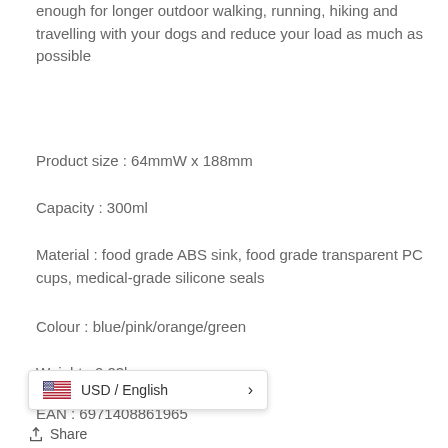enough for longer outdoor walking, running, hiking and travelling with your dogs and reduce your load as much as possible
Product size : 64mmW x 188mm
Capacity : 300ml
Material : food grade ABS sink, food grade transparent PC cups, medical-grade silicone seals
Colour : blue/pink/orange/green
Weight : 0.23kg
EAN : 6971408861965
[Figure (screenshot): USD / English language/currency selector popup with US flag icon and right arrow]
Share